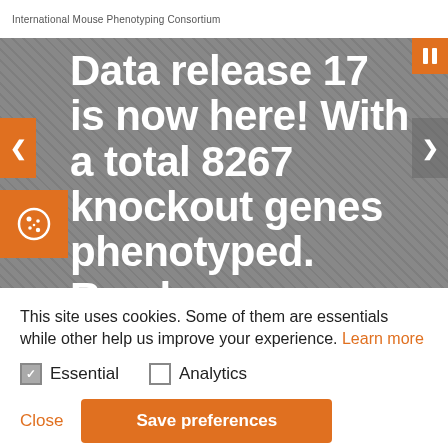International Mouse Phenotyping Consortium
[Figure (screenshot): Hero banner with text: Data release 17 is now here! With a total 8267 knockout genes phenotyped. Read — on a grey crosshatch background with navigation arrows and pause button]
This site uses cookies. Some of them are essentials while other help us improve your experience. Learn more
Essential (checked checkbox)
Analytics (unchecked checkbox)
Close | Save preferences